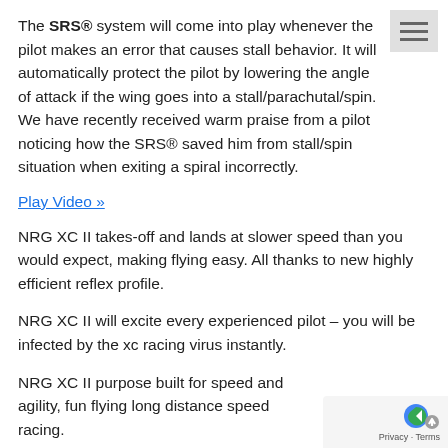The SRS® system will come into play whenever the pilot makes an error that causes stall behavior. It will automatically protect the pilot by lowering the angle of attack if the wing goes into a stall/parachutal/spin. We have recently received warm praise from a pilot noticing how the SRS® saved him from stall/spin situation when exiting a spiral incorrectly.
Play Video »
NRG XC II takes-off and lands at slower speed than you would expect, making flying easy. All thanks to new highly efficient reflex profile.
NRG XC II will excite every experienced pilot – you will be infected by the xc racing virus instantly.
NRG XC II purpose built for speed and agility, fun flying long distance speed racing.